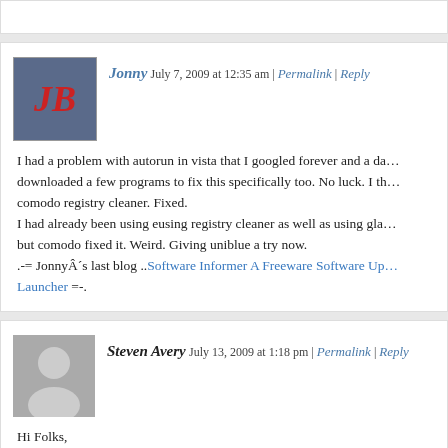Jonny July 7, 2009 at 12:35 am | Permalink | Reply
I had a problem with autorun in vista that I googled forever and a day. downloaded a few programs to fix this specifically too. No luck. I th... comodo registry cleaner. Fixed. I had already been using eusing registry cleaner as well as using gla... but comodo fixed it. Weird. Giving uniblue a try now. .-= JonnyÂ´s last blog ..Software Informer A Freeware Software Up... Launcher =-.
Steven Avery July 13, 2009 at 1:18 pm | Permalink | Reply
Hi Folks,
Pallab .. about the WhattheTech disaster .. did you notice that he had